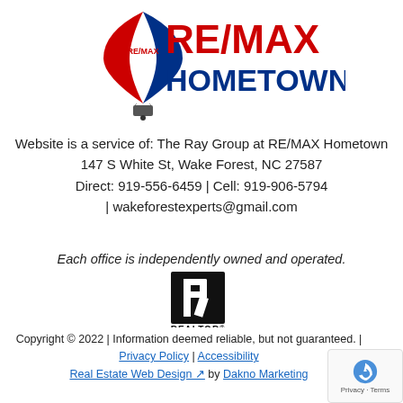[Figure (logo): RE/MAX Hometown logo with hot air balloon icon and RE/MAX Hometown text in red and blue]
Website is a service of: The Ray Group at RE/MAX Hometown
147 S White St, Wake Forest, NC 27587
Direct: 919-556-6459 | Cell: 919-906-5794
| wakeforestexperts@gmail.com
Each office is independently owned and operated.
[Figure (logo): Realtor logo — black square with white R mark and REALTOR® text below]
Copyright © 2022 | Information deemed reliable, but not guaranteed. | Privacy Policy | Accessibility
Real Estate Web Design by Dakno Marketing